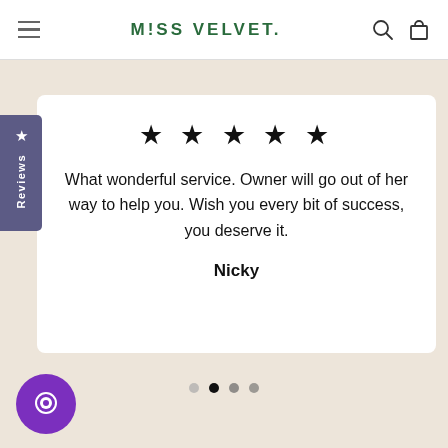MISS VELVET.
[Figure (screenshot): Reviews side tab with star icon and 'Reviews' text, purple background]
★ ★ ★ ★ ★
What wonderful service. Owner will go out of her way to help you. Wish you every bit of success, you deserve it.
Nicky
[Figure (other): Carousel pagination dots, 4 dots with second dot filled/active]
[Figure (other): Purple circular chat/messaging button in bottom left corner]